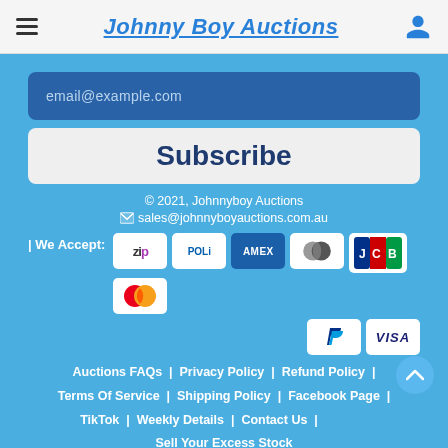Johnny Boy Auctions
email@example.com
Subscribe
© 2021, Johnnyboy Auctions
sales@johnnyboyauctions.com.au
| We Accept: [Zip] [POLi] [AMEX] [Diners] [JCB] [Mastercard] [PayPal] [VISA]
Auctions FAQs | Privacy Policy | Refund Policy |
Terms Of Service | Shipping Policy | Facebook Page |
TikTok | Weekly Details | Contact Us |
Sell Your Excess Stock